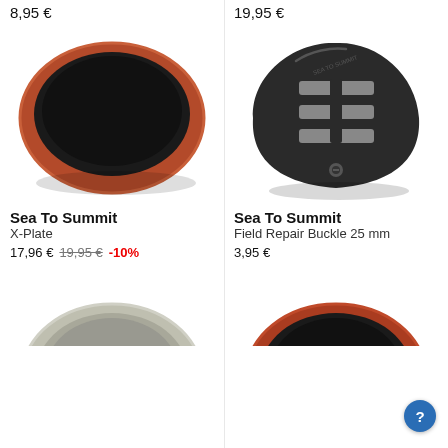Clothesline – 9,5 m   8,95 €
X-Plate   19,95 €
[Figure (photo): Sea To Summit X-Plate collapsible plate in terra cotta/dark color, viewed from above]
[Figure (photo): Sea To Summit Field Repair Buckle 25 mm, black plastic buckle/triglide, viewed from above at angle]
Sea To Summit
X-Plate
17,96 €  19,95 €  -10%
Sea To Summit
Field Repair Buckle 25 mm
3,95 €
[Figure (photo): Partial view of a grey collapsible plate/bowl from Sea To Summit, cropped at bottom]
[Figure (photo): Partial view of a terra cotta/rust colored collapsible plate from Sea To Summit, cropped at bottom]